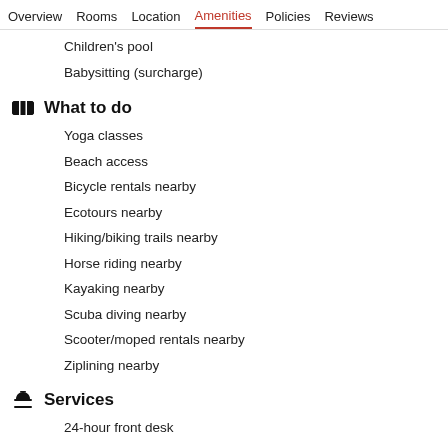Overview  Rooms  Location  Amenities  Policies  Reviews
Children's pool
Babysitting (surcharge)
What to do
Yoga classes
Beach access
Bicycle rentals nearby
Ecotours nearby
Hiking/biking trails nearby
Horse riding nearby
Kayaking nearby
Scuba diving nearby
Scooter/moped rentals nearby
Ziplining nearby
Services
24-hour front desk